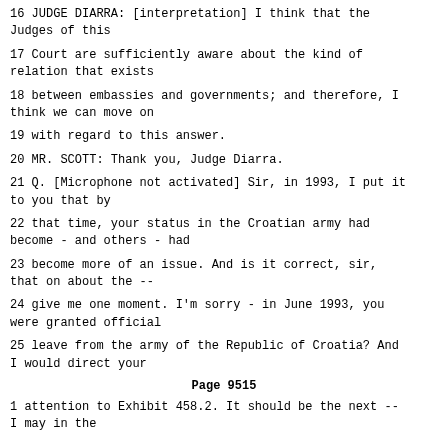16 JUDGE DIARRA: [interpretation] I think that the Judges of this
17 Court are sufficiently aware about the kind of relation that exists
18 between embassies and governments; and therefore, I think we can move on
19 with regard to this answer.
20 MR. SCOTT: Thank you, Judge Diarra.
21 Q. [Microphone not activated] Sir, in 1993, I put it to you that by
22 that time, your status in the Croatian army had become - and others - had
23 become more of an issue. And is it correct, sir, that on about the --
24 give me one moment. I'm sorry - in June 1993, you were granted official
25 leave from the army of the Republic of Croatia? And I would direct your
Page 9515
1 attention to Exhibit 458.2. It should be the next -- I may in the